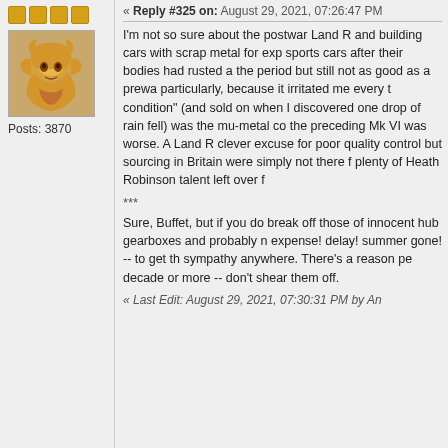« Reply #325 on: August 29, 2021, 07:26:47 PM
[Figure (illustration): Golden viking/warrior face avatar icon]
Posts: 3870
I'm not so sure about the postwar Land R... and building cars with scrap metal for exp... sports cars after their bodies had rusted a... the period but still not as good as a prewa... particularly, because it irritated me every t... condition" (and sold on when I discovered... one drop of rain fell) was the mu-metal co... the preceding Mk VI was worse. A Land R... clever excuse for poor quality control but ... sourcing in Britain were simply not there f... plenty of Heath Robinson talent left over f...
***
Sure, Buffet, but if you do break off those... of innocent hub gearboxes and probably n... expense! delay! summer gone! -- to get th... sympathy anywhere. There's a reason pe... decade or more -- don't shear them off.
« Last Edit: August 29, 2021, 07:30:31 PM by An...
JohnR
Hero Member
Re: What's your Rohloff combo (chainring, cog)?
« Reply #326 on: August 29, 2021, 10:27:12 PM